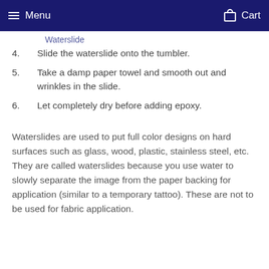Menu  Cart
Waterslide
4. Slide the waterslide onto the tumbler.
5. Take a damp paper towel and smooth out and wrinkles in the slide.
6. Let completely dry before adding epoxy.
Waterslides are used to put full color designs on hard surfaces such as glass, wood, plastic, stainless steel, etc. They are called waterslides because you use water to slowly separate the image from the paper backing for application (similar to a temporary tattoo). These are not to be used for fabric application.